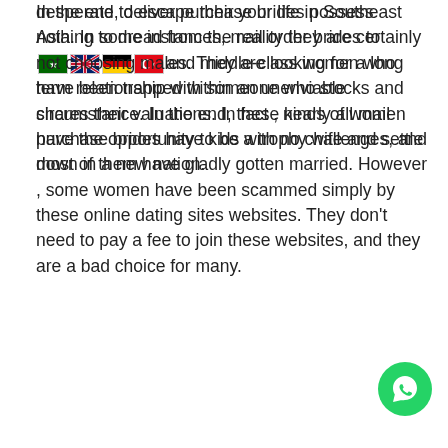desperate to escape their your life in Southeast Asia. In some instances, mail order brides to [flags] and middle-class women who have been trapped within an unenviable circumstance. In the end, these kinds of women have the opportunity to be a trophy wife and settle down in a new nation.
In the end, deliver purchase brides possess nothing to dread from the reality they are certainly not choosing males. They are looking for a long term relationship with someone who stocks and shares their valuations. In fact , nearly all mail purchase brides have kids with no challenges, and most of them have gladly gotten married. However , some women have been scammed simply by these online dating sites websites. They don’t need to pay a fee to join these websites, and they are a bad choice for many.
The downside of mail buy brides is they have no